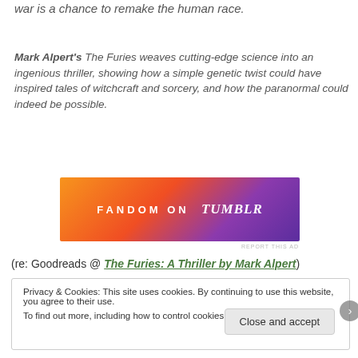war is a chance to remake the human race.
Mark Alpert's The Furies weaves cutting-edge science into an ingenious thriller, showing how a simple genetic twist could have inspired tales of witchcraft and sorcery, and how the paranormal could indeed be possible.
[Figure (other): Fandom on Tumblr advertisement banner with orange to purple gradient background and decorative icons]
(re: Goodreads @ The Furies: A Thriller by Mark Alpert)
Privacy & Cookies: This site uses cookies. By continuing to use this website, you agree to their use. To find out more, including how to control cookies, see here: Cookie Policy